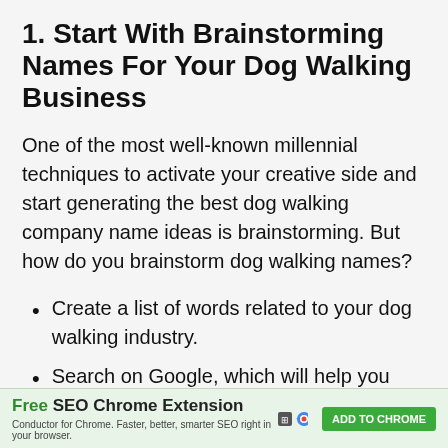1. Start With Brainstorming Names For Your Dog Walking Business
One of the most well-known millennial techniques to activate your creative side and start generating the best dog walking company name ideas is brainstorming. But how do you brainstorm dog walking names?
Create a list of words related to your dog walking industry.
Search on Google, which will help you discover even more words and ideas for a
Free SEO Chrome Extension — Conductor for Chrome. Faster, better, smarter SEO right in your browser. ADD TO CHROME